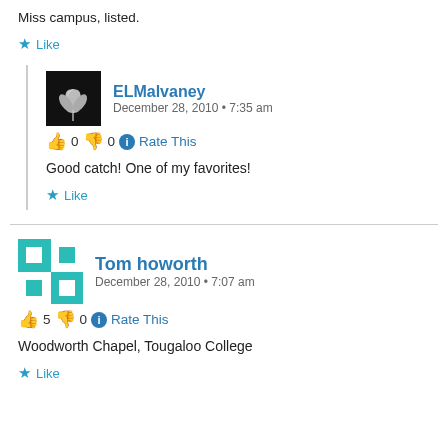Miss campus, listed.
★ Like
ELMalvaney
December 28, 2010 • 7:35 am
👍 0 👎 0 ℹ Rate This
Good catch! One of my favorites!
★ Like
Tom howorth
December 28, 2010 • 7:07 am
👍 5 👎 0 ℹ Rate This
Woodworth Chapel, Tougaloo College
★ Like